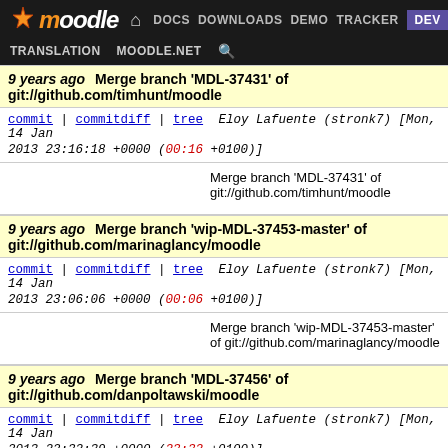moodle DOCS DOWNLOADS DEMO TRACKER DEV TRANSLATION MOODLE.NET
9 years ago  Merge branch 'MDL-37431' of git://github.com/timhunt/moodle
commit | commitdiff | tree  Eloy Lafuente (stronk7) [Mon, 14 Jan 2013 23:16:18 +0000 (00:16 +0100)]
Merge branch 'MDL-37431' of git://github.com/timhunt/moodle
9 years ago  Merge branch 'wip-MDL-37453-master' of git://github.com/marinaglancy/moodle
commit | commitdiff | tree  Eloy Lafuente (stronk7) [Mon, 14 Jan 2013 23:06:06 +0000 (00:06 +0100)]
Merge branch 'wip-MDL-37453-master' of git://github.com/marinaglancy/moodle
9 years ago  Merge branch 'MDL-37456' of git://github.com/danpoltawski/moodle
commit | commitdiff | tree  Eloy Lafuente (stronk7) [Mon, 14 Jan 2013 22:32:39 +0000 (23:32 +0100)]